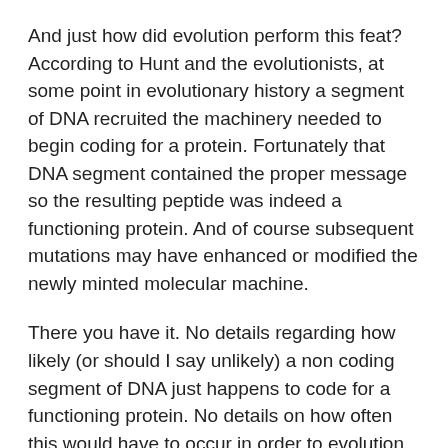And just how did evolution perform this feat? According to Hunt and the evolutionists, at some point in evolutionary history a segment of DNA recruited the machinery needed to begin coding for a protein. Fortunately that DNA segment contained the proper message so the resulting peptide was indeed a functioning protein. And of course subsequent mutations may have enhanced or modified the newly minted molecular machine.
There you have it. No details regarding how likely (or should I say unlikely) a non coding segment of DNA just happens to code for a functioning protein. No details on how often this would have to occur in order to evolution to get lucky.
Now don’t get me wrong—I’m not saying this evolutionary interpretation is impossible. I wasn’t there and, frankly, I don’t know enough to calculate the probabilities. (I don’t think any else does either which would explain why evolutionists haven’t provided them).
We do have some relevant experimental data. A functioning